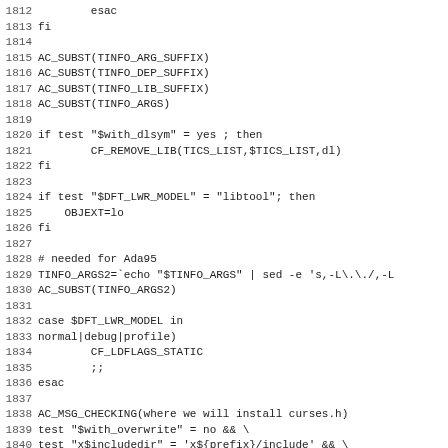Code listing lines 1812-1843 (shell/autoconf script)